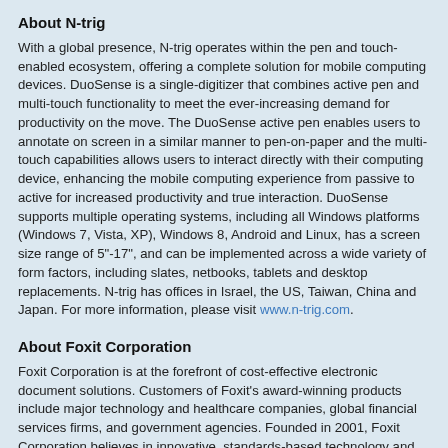About N-trig
With a global presence, N-trig operates within the pen and touch-enabled ecosystem, offering a complete solution for mobile computing devices. DuoSense is a single-digitizer that combines active pen and multi-touch functionality to meet the ever-increasing demand for productivity on the move. The DuoSense active pen enables users to annotate on screen in a similar manner to pen-on-paper and the multi-touch capabilities allows users to interact directly with their computing device, enhancing the mobile computing experience from passive to active for increased productivity and true interaction. DuoSense supports multiple operating systems, including all Windows platforms (Windows 7, Vista, XP), Windows 8, Android and Linux, has a screen size range of 5"-17", and can be implemented across a wide variety of form factors, including slates, netbooks, tablets and desktop replacements. N-trig has offices in Israel, the US, Taiwan, China and Japan. For more information, please visit www.n-trig.com.
About Foxit Corporation
Foxit Corporation is at the forefront of cost-effective electronic document solutions. Customers of Foxit's award-winning products include major technology and healthcare companies, global financial services firms, and government agencies. Founded in 2001, Foxit Corporation believes in innovative, standards-based technology and unrivalled customer support, with a deep commitment to sustainable, environmentally sound products and services.
###